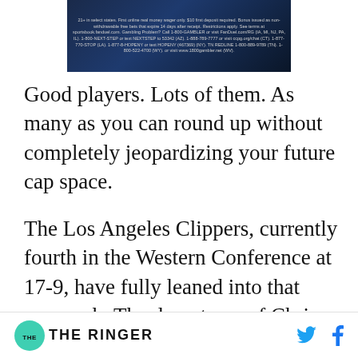[Figure (other): FanDuel Sportsbook advertisement banner with dark blue background and small white/grey legal text disclaimers]
Good players. Lots of them. As many as you can round up without completely jeopardizing your future cap space.
The Los Angeles Clippers, currently fourth in the Western Conference at 17-9, have fully leaned into that approach. The departures of Chris Paul, Blake Griffin, and DeAndre Jordan should have resulted in a hard reset, but the acquisition of Sixth Man of the Year candidates like Lou
THE RINGER [logo] [Twitter icon] [Facebook icon]